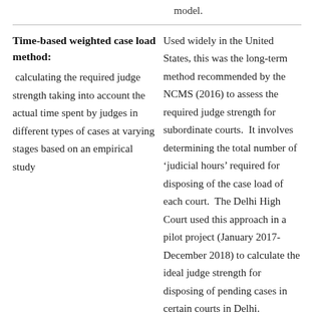model.
Time-based weighted case load method: calculating the required judge strength taking into account the actual time spent by judges in different types of cases at varying stages based on an empirical study
Used widely in the United States, this was the long-term method recommended by the NCMS (2016) to assess the required judge strength for subordinate courts. It involves determining the total number of ‘judicial hours’ required for disposing of the case load of each court. The Delhi High Court used this approach in a pilot project (January 2017- December 2018) to calculate the ideal judge strength for disposing of pending cases in certain courts in Delhi.